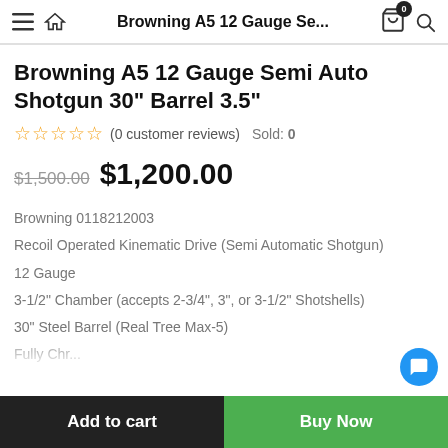Browning A5 12 Gauge Se...
Browning A5 12 Gauge Semi Auto Shotgun 30" Barrel 3.5"
★★★★★ (0 customer reviews)  Sold: 0
$1,500.00  $1,200.00
Browning 0118212003
Recoil Operated Kinematic Drive (Semi Automatic Shotgun)
12 Gauge
3-1/2" Chamber (accepts 2-3/4", 3", or 3-1/2" Shotshells)
30" Steel Barrel (Real Tree Max-5)